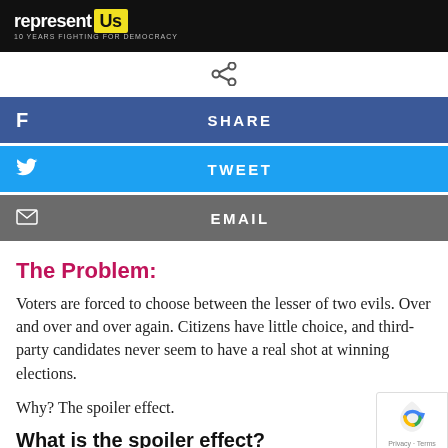represent Us — 10 YEARS FIGHTING FOR DEMOCRACY
[Figure (logo): Share icon (network/share symbol)]
f  SHARE
🐦  TWEET
✉  EMAIL
The Problem:
Voters are forced to choose between the lesser of two evils. Over and over and over again. Citizens have little choice, and third-party candidates never seem to have a real shot at winning elections.
Why? The spoiler effect.
What is the spoiler effect?